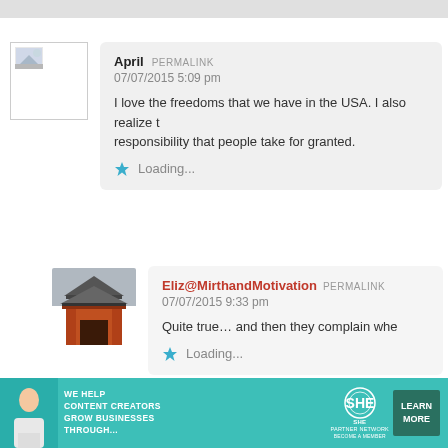[Figure (screenshot): User avatar placeholder with broken image icon for commenter April]
April PERMALINK
07/07/2015 5:09 pm
I love the freedoms that we have in the USA. I also realize responsibility that people take for granted.
★ Loading...
[Figure (photo): Avatar photo showing a red Japanese temple gate building for commenter Eliz@MirthandMotivation]
Eliz@MirthandMotivation PERMALINK
07/07/2015 9:33 pm
Quite true… and then they complain whe
★ Loading...
[Figure (infographic): Advertisement banner: SHE Partner Network - We help content creators grow businesses through... Learn More]